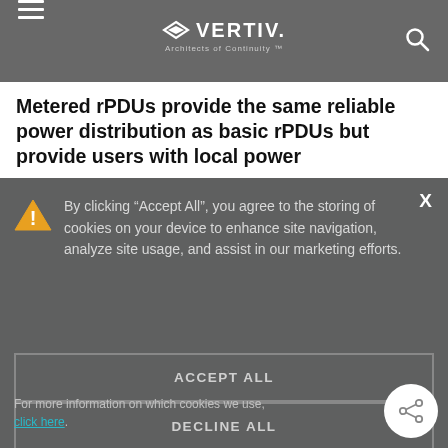VERTIV — Architects of Continuity™
Metered rPDUs provide the same reliable power distribution as basic rPDUs but provide users with local power
By clicking “Accept All”, you agree to the storing of cookies on your device to enhance site navigation, analyze site usage, and assist in our marketing efforts.
ACCEPT ALL
DECLINE ALL
MANAGE COOKIES
For more information on which cookies we use, click here.